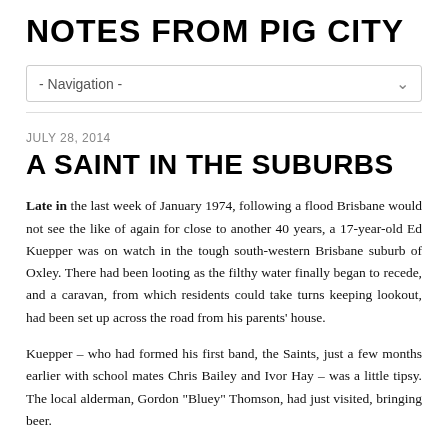NOTES FROM PIG CITY
- Navigation -
JULY 28, 2014
A SAINT IN THE SUBURBS
Late in the last week of January 1974, following a flood Brisbane would not see the like of again for close to another 40 years, a 17-year-old Ed Kuepper was on watch in the tough south-western Brisbane suburb of Oxley. There had been looting as the filthy water finally began to recede, and a caravan, from which residents could take turns keeping lookout, had been set up across the road from his parents' house.
Kuepper – who had formed his first band, the Saints, just a few months earlier with school mates Chris Bailey and Ivor Hay – was a little tipsy. The local alderman, Gordon “Bluey” Thomson, had just visited, bringing beer.